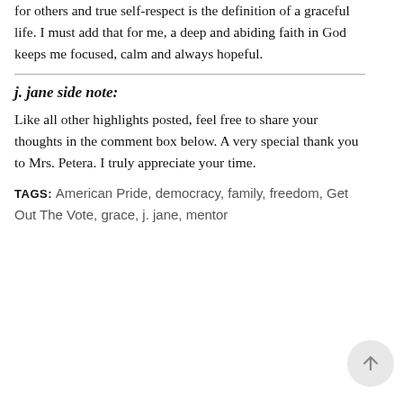for others and true self-respect is the definition of a graceful life. I must add that for me, a deep and abiding faith in God keeps me focused, calm and always hopeful.
j. jane side note:
Like all other highlights posted, feel free to share your thoughts in the comment box below. A very special thank you to Mrs. Petera. I truly appreciate your time.
TAGS: American Pride, democracy, family, freedom, Get Out The Vote, grace, j. jane, mentor